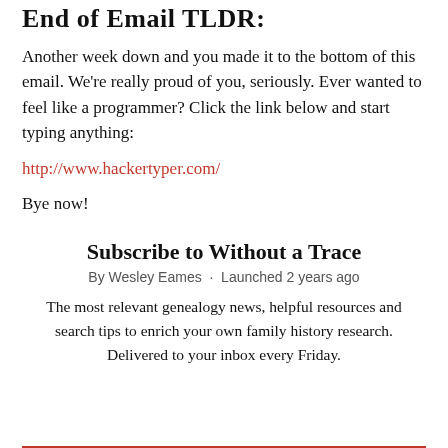End of Email TLDR:
Another week down and you made it to the bottom of this email. We're really proud of you, seriously. Ever wanted to feel like a programmer? Click the link below and start typing anything:
http://www.hackertyper.com/
Bye now!
Subscribe to Without a Trace
By Wesley Eames · Launched 2 years ago
The most relevant genealogy news, helpful resources and search tips to enrich your own family history research. Delivered to your inbox every Friday.